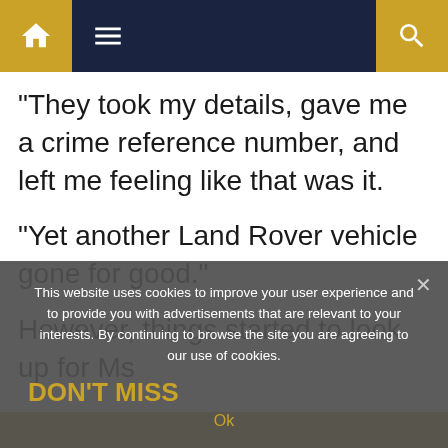Navigation bar with home, menu, and search icons
“They took my details, gave me a crime reference number, and left me feeling like that was it.
“Yet another Land Rover vehicle gone for good.”
However, things started to look up for Ms
DON’T MISS
This website uses cookies to improve your user experience and to provide you with advertisements that are relevant to your interests. By continuing to browse the site you are agreeing to our use of cookies.
Ok